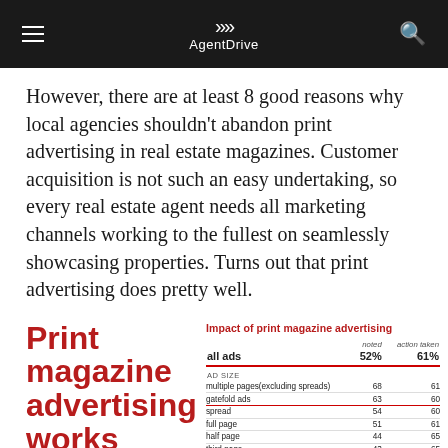AgentDrive
However, there are at least 8 good reasons why local agencies shouldn't abandon print advertising in real estate magazines. Customer acquisition is not such an easy undertaking, so every real estate agent needs all marketing channels working to the fullest on seamlessly showcasing properties. Turns out that print advertising does pretty well.
[Figure (infographic): Print magazine advertising works regardless of ad size or (text continues below visible area) — large bold red text on white background]
|  | noted | action taken |
| --- | --- | --- |
| all ads | 52% | 61% |
| AD SIZE |  |  |
| multiple pages (excluding spreads) | 68 | 61 |
| gatefold ads | 63 | 60 |
| spread | 54 | 60 |
| full page | 51 | 61 |
| half page | 44 | 65 |
| third page | 43 | 65 |
| less than half page | 43 | 65 |
| COLOR |  |  |
| four color | 52 | 61 |
| black and white | 39 | 59 |